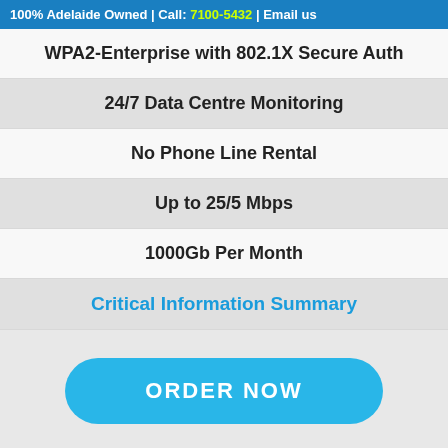100% Adelaide Owned | Call: 7100-5432 | Email us
WPA2-Enterprise with 802.1X Secure Auth
24/7 Data Centre Monitoring
No Phone Line Rental
Up to 25/5 Mbps
1000Gb Per Month
Critical Information Summary
ORDER NOW